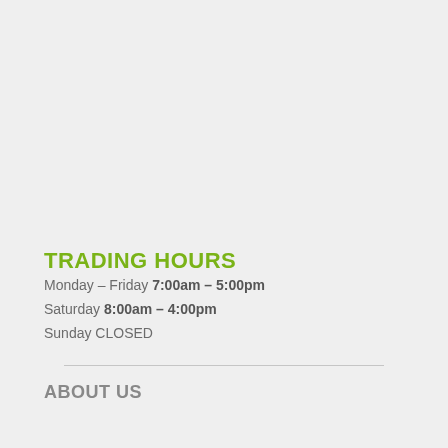TRADING HOURS
Monday – Friday 7:00am – 5:00pm
Saturday 8:00am – 4:00pm
Sunday CLOSED
ABOUT US